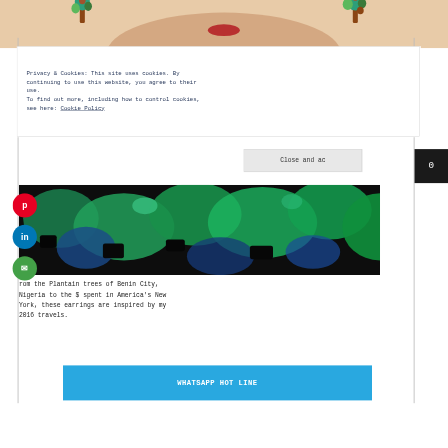[Figure (photo): Top portion of a person's face with decorative earrings (plantain tree inspired jewelry in brown, teal, and green colors)]
Privacy & Cookies: This site uses cookies. By continuing to use this website, you agree to their use.
To find out more, including how to control cookies, see here: Cookie Policy
[Figure (photo): Close-up photo of green and blue mineral or textured surface (malachite-like)]
rom the Plantain trees of Benin City, Nigeria to the $ spent in America’s New York, these earrings are inspired by my 2016 travels.
WHATSAPP HOT LINE